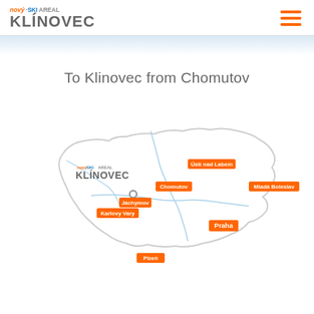nový SKIAREAL KLINOVEC
To Klinovec from Chomutov
[Figure (map): Map of Czech Republic showing the location of Klinovec ski resort with labeled cities: Ústí nad Labem, Chomutov, Mladá Boleslav, Jáchymov, Karlovy Vary, Praha, Plzeň]